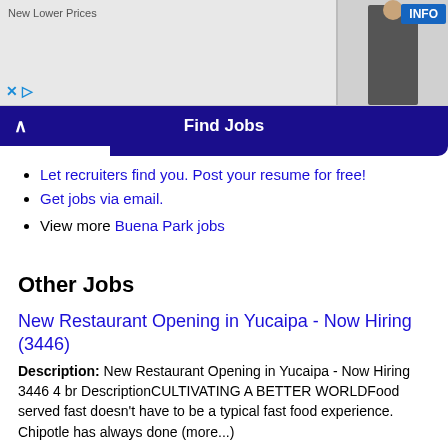[Figure (photo): Advertisement banner showing wedding couple and man in suit with 'New Lower Prices' text and INFO button]
Find Jobs
Let recruiters find you. Post your resume for free!
Get jobs via email.
View more Buena Park jobs
Other Jobs
New Restaurant Opening in Yucaipa - Now Hiring (3446)
Description: New Restaurant Opening in Yucaipa - Now Hiring 3446 4 br DescriptionCULTIVATING A BETTER WORLDFood served fast doesn't have to be a typical fast food experience. Chipotle has always done (more...)